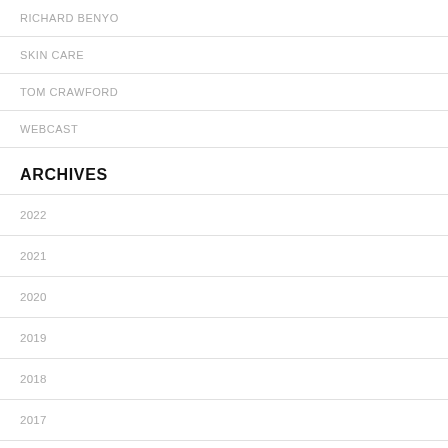RICHARD BENYO
SKIN CARE
TOM CRAWFORD
WEBCAST
ARCHIVES
2022
2021
2020
2019
2018
2017